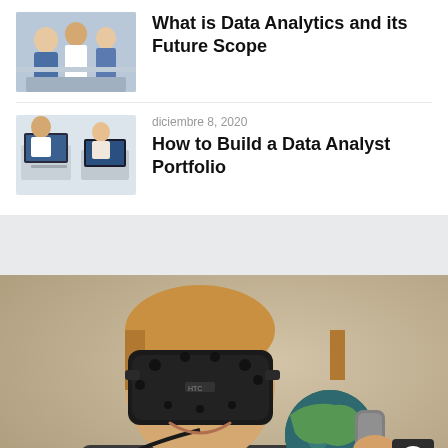[Figure (photo): Thumbnail image of people in a meeting or discussion setting]
What is Data Analytics and its Future Scope
[Figure (photo): Thumbnail image of people working on laptops]
diciembre 8, 2020
How to Build a Data Analyst Portfolio
[Figure (photo): Person wearing HTC VR headset and holding a globe with a controller, smiling]